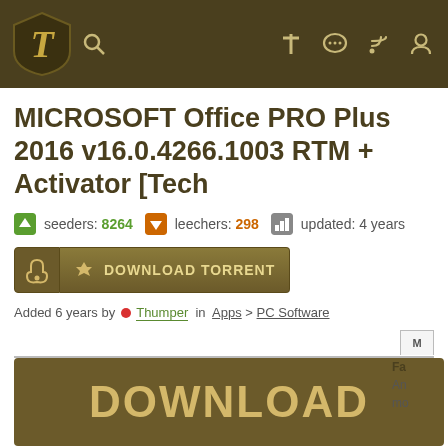Navigation header with logo and icons
MICROSOFT Office PRO Plus 2016 v16.0.4266.1003 RTM + Activator [Tech
seeders: 8264   leechers: 298   updated: 4 years
DOWNLOAD TORRENT
Added 6 years by Thumper in Apps > PC Software
[Figure (screenshot): DOWNLOAD button - large dark gold/olive colored button]
Downloads: 444920
Language: English
tag: Office , ThumperDC , ThumperTM , TechTools ,
Files